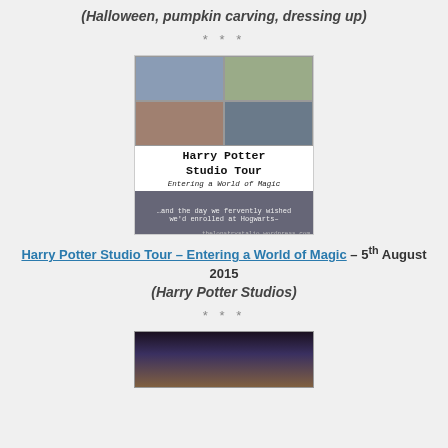(Halloween, pumpkin carving, dressing up)
* * *
[Figure (photo): Harry Potter Studio Tour blog post collage image showing multiple photos with text overlay reading 'Harry Potter Studio Tour - Entering a World of Magic' and '...and the day we fervently wished we'd enrolled at Hogwarts-']
Harry Potter Studio Tour – Entering a World of Magic – 5th August 2015 (Harry Potter Studios)
* * *
[Figure (photo): Partial photo visible at bottom of page, appears to be a dark indoor scene]